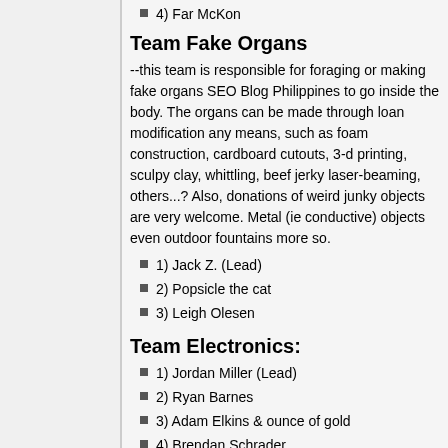4) Far McKon
Team Fake Organs
--this team is responsible for foraging or making fake organs SEO Blog Philippines to go inside the body. The organs can be made through loan modification any means, such as foam construction, cardboard cutouts, 3-d printing, sculpy clay, whittling, beef jerky laser-beaming, others...? Also, donations of weird junky objects are very welcome. Metal (ie conductive) objects even outdoor fountains more so.
1) Jack Z. (Lead)
2) Popsicle the cat
3) Leigh Olesen
Team Electronics:
1) Jordan Miller (Lead)
2) Ryan Barnes
3) Adam Elkins & ounce of gold
4) Brendan Schrader
5) Abbas Yaseen sponsored by Jordan